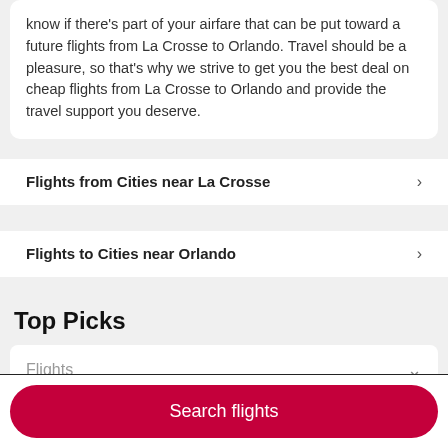know if there's part of your airfare that can be put toward a future flights from La Crosse to Orlando. Travel should be a pleasure, so that's why we strive to get you the best deal on cheap flights from La Crosse to Orlando and provide the travel support you deserve.
Flights from Cities near La Crosse
Flights to Cities near Orlando
Top Picks
Flights
Search flights